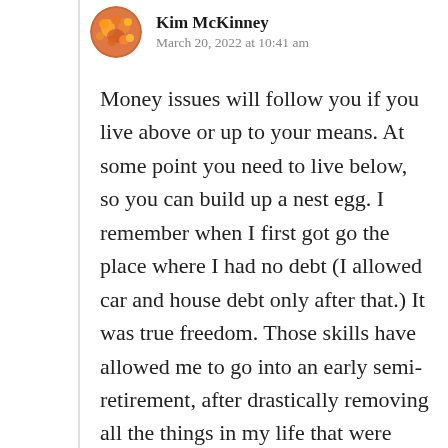Kim McKinney
March 20, 2022 at 10:41 am
Money issues will follow you if you live above or up to your means. At some point you need to live below, so you can build up a nest egg. I remember when I first got go the place where I had no debt (I allowed car and house debt only after that.) It was true freedom. Those skills have allowed me to go into an early semi-retirement, after drastically removing all the things in my life that were unnecessary. My total expenses now are easily met, even if the writing gigs aren't paying off.